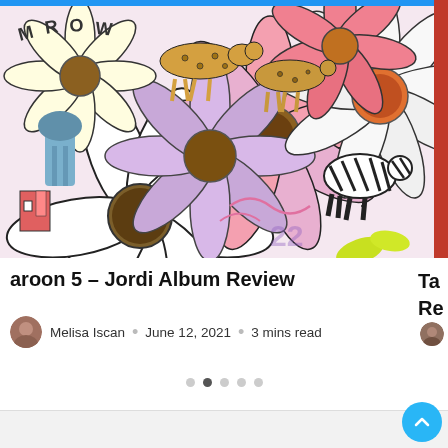[Figure (illustration): Colorful illustrated artwork showing large daisy/sunflower blooms with pink, white and purple petals, overlaid with cartoon-style drawings of animals (cheetah, zebra) and handwritten-style letters 'MROW'. The image has a red bar on the right edge and a blue bar at the top.]
aroon 5 – Jordi Album Review
Melisa Iscan  •  June 12, 2021  •  3 mins read
Ta Re